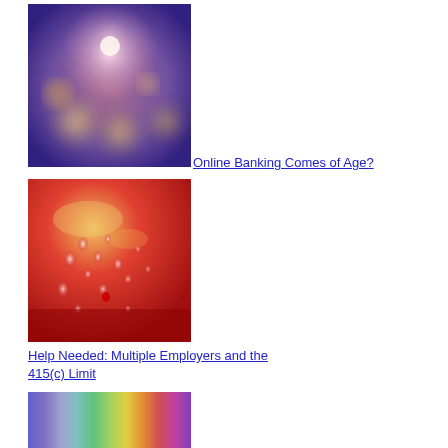[Figure (photo): Blurred bokeh lights photo with purple and pink tones, circular light orbs]
Online Banking Comes of Age?
[Figure (photo): Close-up macro photo of a red apple or fruit with water droplets on surface]
Help Needed: Multiple Employers and the 415(c) Limit
[Figure (photo): Abstract rainbow spectrum gradient image with vertical color bands]